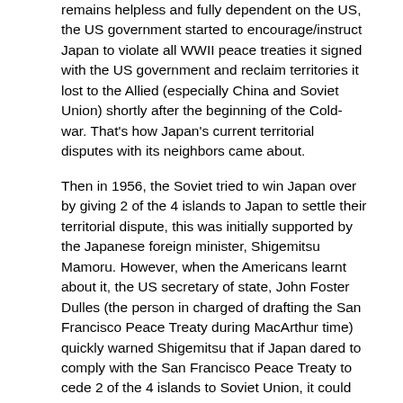remains helpless and fully dependent on the US, the US government started to encourage/instruct Japan to violate all WWII peace treaties it signed with the US government and reclaim territories it lost to the Allied (especially China and Soviet Union) shortly after the beginning of the Cold-war. That's how Japan's current territorial disputes with its neighbors came about.
Then in 1956, the Soviet tried to win Japan over by giving 2 of the 4 islands to Japan to settle their territorial dispute, this was initially supported by the Japanese foreign minister, Shigemitsu Mamoru. However, when the Americans learnt about it, the US secretary of state, John Foster Dulles (the person in charged of drafting the San Francisco Peace Treaty during MacArthur time) quickly warned Shigemitsu that if Japan dared to comply with the San Francisco Peace Treaty to cede 2 of the 4 islands to Soviet Union, it could say goodbye to the Ryukyu Islands (Okinawa) forever and the Ryukyus would then be part of the US.
As a result, Japan reclaimed all the 4 islands it ceded in the San Francisco Peace Treaty as demanded by the US and has not been able to conclude a peace treaty with Russia to this day.
As for the territorial dispute between China and Japan, if the